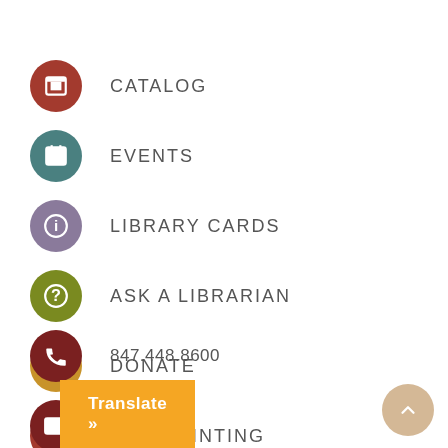CATALOG
EVENTS
LIBRARY CARDS
ASK A LIBRARIAN
DONATE
WIFI PRINTING
847.448.8600
Email Us
Translate »